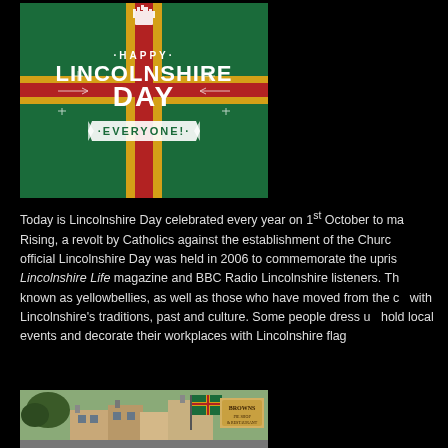[Figure (illustration): Lincolnshire Day graphic on the Lincolnshire flag (green with gold cross and red stripe) with text 'HAPPY LINCOLNSHIRE DAY EVERYONE!']
Today is Lincolnshire Day celebrated every year on 1st October to mark the Lincolnshire Rising, a revolt by Catholics against the establishment of the Church of England. The first official Lincolnshire Day was held in 2006 to commemorate the uprising, chosen by Lincolnshire Life magazine and BBC Radio Lincolnshire listeners. The day celebrates those known as yellowbellies, as well as those who have moved from the county but still connect with Lincolnshire's traditions, past and culture. Some people dress up in local costumes, hold local events and decorate their workplaces with Lincolnshire flags.
[Figure (photo): Street scene showing buildings with a Lincolnshire flag flying and a Brown's restaurant sign]